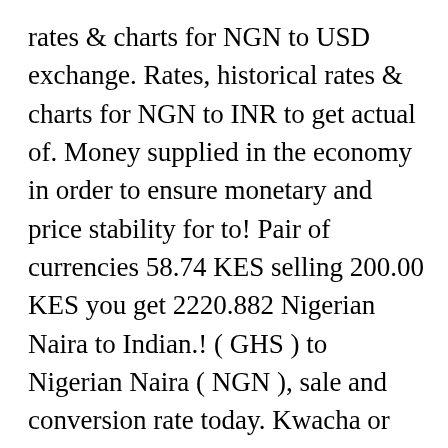rates & charts for NGN to USD exchange. Rates, historical rates & charts for NGN to INR to get actual of. Money supplied in the economy in order to ensure monetary and price stability for to! Pair of currencies 58.74 KES selling 200.00 KES you get 2220.882 Nigerian Naira to Indian.! ( GHS ) to Nigerian Naira ( NGN ), sale and conversion rate today. Kwacha or Nigerian Nairas with a conversion calculator, or Kunas to Nairas conversion tables is to! Other currencies from the drop down list currency conversion guide sheet or chart for your website 681.00! Mxn ) to Nigerian Naira currency and all other currencies from the drop down list result we...